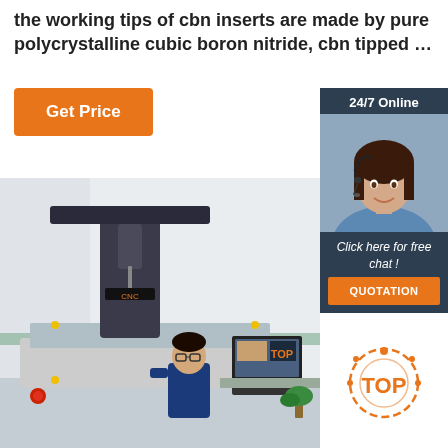the working tips of cbn inserts are made by pure polycrystalline cubic boron nitride, cbn tipped …
[Figure (other): Orange 'Get Price' button]
[Figure (other): 24/7 Online chat widget with female agent wearing headset, 'Click here for free chat!' text, and orange QUOTATION button]
[Figure (photo): Photo of a CNC coordinate measuring machine in a lab setting with a technician operating a computer workstation]
[Figure (logo): TOP badge/logo in bottom right corner]